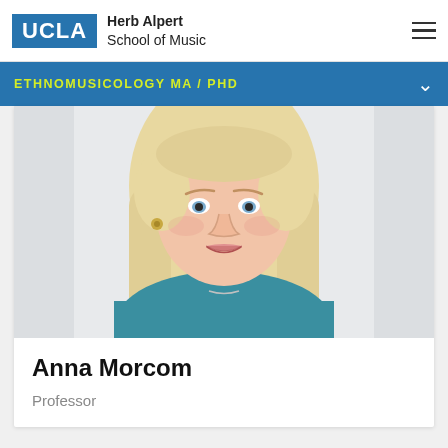UCLA Herb Alpert School of Music
ETHNOMUSICOLOGY MA / PHD
[Figure (photo): Headshot of Anna Morcom, a woman with long blonde hair wearing a teal top, smiling at the camera against a light background.]
Anna Morcom
Professor